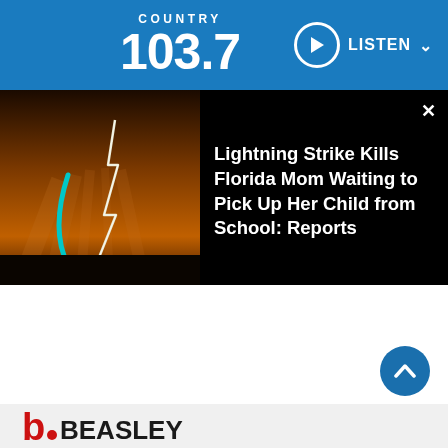COUNTRY 103.7  LISTEN
[Figure (screenshot): News card with lightning strike photo and headline: Lightning Strike Kills Florida Mom Waiting to Pick Up Her Child from School: Reports]
Lightning Strike Kills Florida Mom Waiting to Pick Up Her Child from School: Reports
[Figure (logo): Beasley Media Group logo with red 'b' icon and black BEASLEY text]